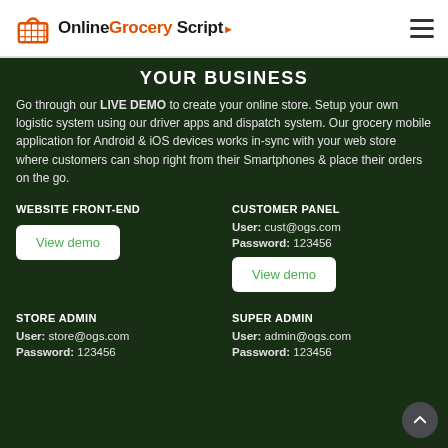OnlineGrocery Script [logo] [hamburger menu]
YOUR BUSINESS
Go through our LIVE DEMO to create your online store. Setup your own logistic system using our driver apps and dispatch system. Our grocery mobile application for Android & iOS devices works in-sync with your web store where customers can shop right from their Smartphones & place their orders on the go.
WEBSITE FRONT-END
View demo
CUSTOMER PANEL
User: cust@ogs.com
Password: 123456
View demo
STORE ADMIN
User: store@ogs.com
Password: 123456
SUPER ADMIN
User: admin@ogs.com
Password: 123456